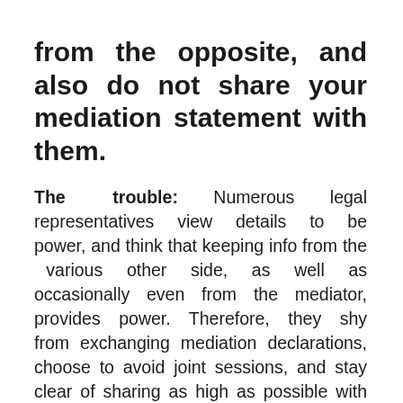from the opposite, and also do not share your mediation statement with them.
The trouble: Numerous legal representatives view details to be power, and think that keeping info from the various other side, as well as occasionally even from the mediator, provides power. Therefore, they shy from exchanging mediation declarations, choose to avoid joint sessions, and stay clear of sharing as high as possible with the opposite.